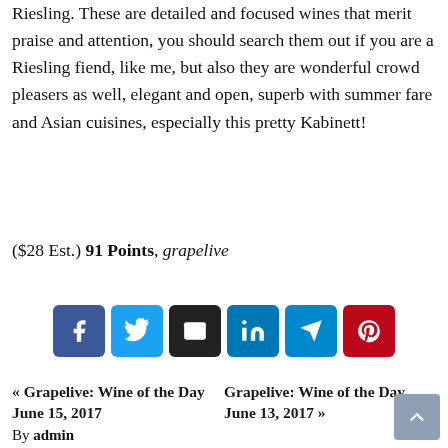Riesling. These are detailed and focused wines that merit praise and attention, you should search them out if you are a Riesling fiend, like me, but also they are wonderful crowd pleasers as well, elegant and open, superb with summer fare and Asian cuisines, especially this pretty Kabinett!
($28 Est.) 91 Points, grapelive
[Figure (infographic): Row of six social share buttons: Facebook (dark blue), Twitter (light blue), Email (black), LinkedIn (blue), Telegram (teal), Pinterest (red)]
« Grapelive: Wine of the Day June 15, 2017   Grapelive: Wine of the Day June 13, 2017 »
By admin